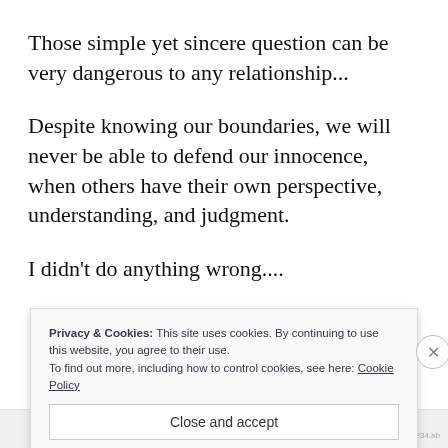Those simple yet sincere question can be very dangerous to any relationship...
Despite knowing our boundaries, we will never be able to defend our innocence, when others have their own perspective, understanding, and judgment.
I didn't do anything wrong....
Privacy & Cookies: This site uses cookies. By continuing to use this website, you agree to their use.
To find out more, including how to control cookies, see here: Cookie Policy
Close and accept